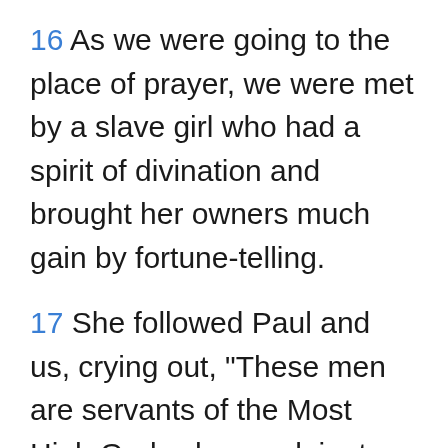16 As we were going to the place of prayer, we were met by a slave girl who had a spirit of divination and brought her owners much gain by fortune-telling.
17 She followed Paul and us, crying out, "These men are servants of the Most High God, who proclaim to you the way of salvation."
18 And this she kept doing for many days. Paul, having become greatly annoyed, turned and said to the spirit, "I command you in the name of Jesus Christ to come out of her." And it...